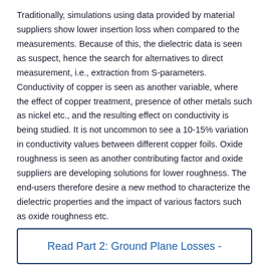Traditionally, simulations using data provided by material suppliers show lower insertion loss when compared to the measurements. Because of this, the dielectric data is seen as suspect, hence the search for alternatives to direct measurement, i.e., extraction from S-parameters. Conductivity of copper is seen as another variable, where the effect of copper treatment, presence of other metals such as nickel etc., and the resulting effect on conductivity is being studied. It is not uncommon to see a 10-15% variation in conductivity values between different copper foils. Oxide roughness is seen as another contributing factor and oxide suppliers are developing solutions for lower roughness. The end-users therefore desire a new method to characterize the dielectric properties and the impact of various factors such as oxide roughness etc.
Read Part 2: Ground Plane Losses -